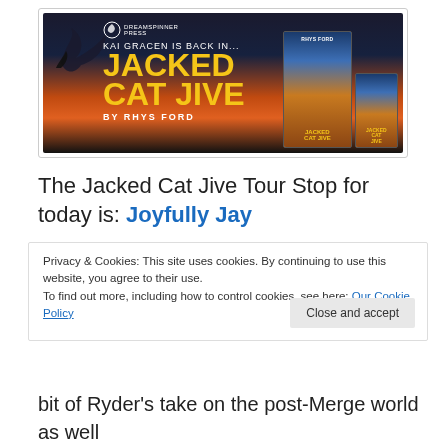[Figure (illustration): Book promotional banner for 'Jacked Cat Jive' by Rhys Ford, published by Dreamspinner Press. Yellow title text on dark background with sunset, dragon silhouette, and book cover images.]
The Jacked Cat Jive Tour Stop for today is: Joyfully Jay
Privacy & Cookies: This site uses cookies. By continuing to use this website, you agree to their use.
To find out more, including how to control cookies, see here: Our Cookie Policy
bit of Ryder's take on the post-Merge world as well